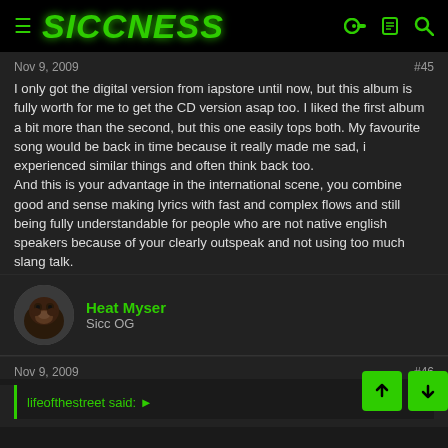SICCNESS
Nov 9, 2009   #45
I only got the digital version from iapstore until now, but this album is fully worth for me to get the CD version asap too. I liked the first album a bit more than the second, but this one easily tops both. My favourite song would be back in time because it really made me sad, i experienced similar things and often think back too.
And this is your advantage in the international scene, you combine good and sense making lyrics with fast and complex flows and still being fully understandable for people who are not native english speakers because of your clearly outspeak and not using too much slang talk.
Heat Myser
Sicc OG
Nov 9, 2009   #46
lifeofthestreet said: ➤